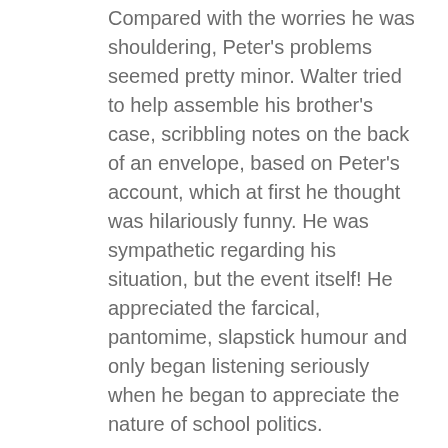Compared with the worries he was shouldering, Peter's problems seemed pretty minor. Walter tried to help assemble his brother's case, scribbling notes on the back of an envelope, based on Peter's account, which at first he thought was hilariously funny. He was sympathetic regarding his situation, but the event itself! He appreciated the farcical, pantomime, slapstick humour and only began listening seriously when he began to appreciate the nature of school politics.
As it became quieter in the pub, they retreated to a small table in the corner each bearing another pint. Most workers would go off in the morning with a packed lunch, but a few better-off locals came in for a lunch-time pint, perhaps a sandwich from a limited range the public house had recently started to offer, or a pickled egg, and went back to work before the pub closed at half-past two. It was nearly closing-time when a voice caught Peter's attention.